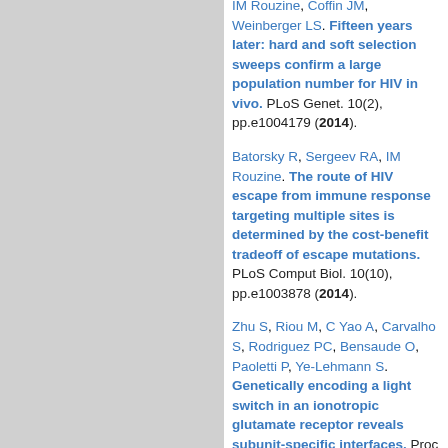IM Rouzine, Coffin JM, Weinberger LS. Fifteen years later: hard and soft selection sweeps confirm a large population number for HIV in vivo. PLoS Genet. 10(2), pp.e1004179 (2014).
Batorsky R, Sergeev RA, IM Rouzine. The route of HIV escape from immune response targeting multiple sites is determined by the cost-benefit tradeoff of escape mutations. PLoS Comput Biol. 10(10), pp.e1003878 (2014).
Zhu S, Riou M, C Yao A, Carvalho S, Rodriguez PC, Bensaude O, Paoletti P, Ye-Lehmann S. Genetically encoding a light switch in an ionotropic glutamate receptor reveals subunit-specific interfaces. Proc Natl Acad Sci U S A. 111(16), pp.6081-6 (2014).
Wang J, Ye-Lehmann S, Gautheret D, Lehmann J. Development of a new method to identify aminoacylated RNA. BIO Web of Conferences. 2, pp.05003 (2014).